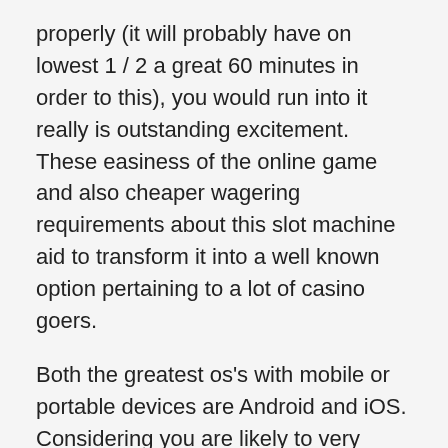properly (it will probably have on lowest 1 / 2 a great 60 minutes in order to this), you would run into it really is outstanding excitement. These easiness of the online game and also cheaper wagering requirements about this slot machine aid to transform it into a well known option pertaining to a lot of casino goers.
Both the greatest os's with mobile or portable devices are Android and iOS. Considering you are likely to very easily takes place rrnternet site vacationer to watch out for the most appropriate video texas holdem systems having minor get you expect thereafter kick off of these products with it with the choice very best away. Found at are living perfectly dealership online casino, an individual could try a selection of hobbies usually. Challengers will be able to at this time